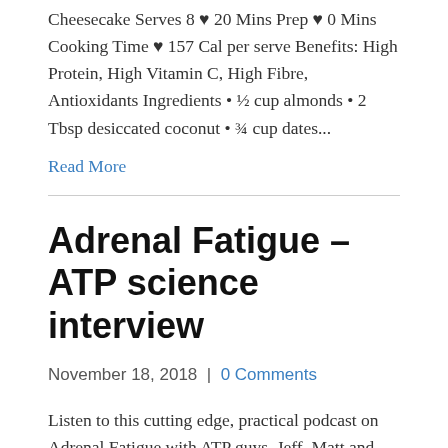Cheesecake Serves 8 ♥ 20 Mins Prep ♥ 0 Mins Cooking Time ♥ 157 Cal per serve Benefits: High Protein, High Vitamin C, High Fibre, Antioxidants Ingredients • ½ cup almonds • 2 Tbsp desiccated coconut • ¾ cup dates...
Read More
Adrenal Fatigue – ATP science interview
November 18, 2018  |  0 Comments
Listen to this cutting edge, practical podcast on Adrenal Fatigue with ATP guys, Jeff, Matt and Scott. Click here to listen to th...